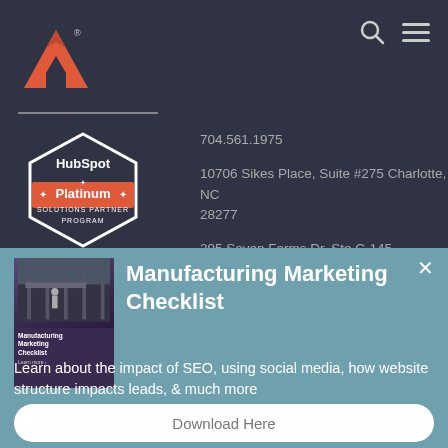[Figure (logo): Arrow Up Digital logo - red/orange triangle with registration mark on dark background]
[Figure (illustration): Search icon (magnifying glass) and hamburger menu icon in grey on dark background]
[Figure (logo): HubSpot Platinum Solutions Partner Program hexagonal badge in white and orange]
704.561.1975
10706 Sikes Place, Suite #275 Charlotte, NC 28277
295 Seven Farms Dr, Ste C-145 Charleston, SC
[Figure (illustration): Manufacturing Marketing Checklist book cover thumbnail - dark purple with white text]
Manufacturing Marketing Checklist
Learn about the impact of SEO, using social media, how website structure impacts leads, & much more
Download Here